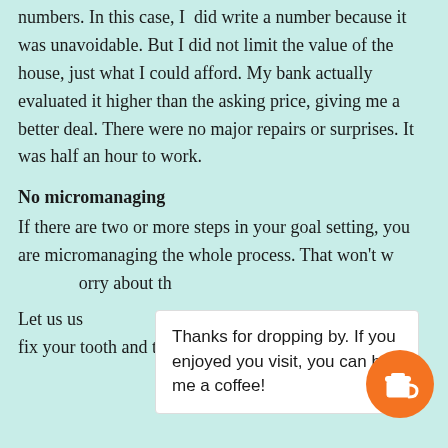numbers. In this case, I did write a number because it was unavoidable. But I did not limit the value of the house, just what I could afford. My bank actually evaluated it higher than the asking price, giving me a better deal. There were no major repairs or surprises. It was half an hour to work.
No micromanaging
If there are two or more steps in your goal setting, you are micromanaging the whole process. That won't wo... orry about th...
Let us us... len... fix your tooth and then let them work. You don't try
[Figure (other): Popup tooltip overlay with text: Thanks for dropping by. If you enjoyed you visit, you can buy me a coffee! With an orange circular coffee cup button in the bottom right corner.]